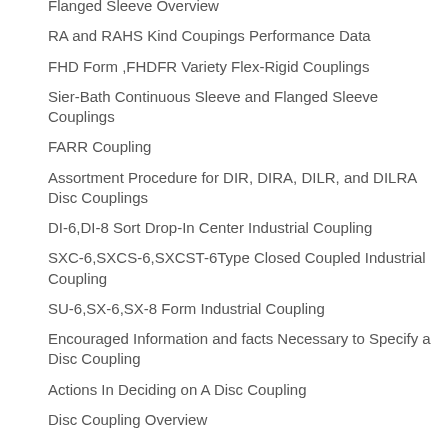Flanged Sleeve Overview
RA and RAHS Kind Coupings Performance Data
FHD Form ,FHDFR Variety Flex-Rigid Couplings
Sier-Bath Continuous Sleeve and Flanged Sleeve Couplings
FARR Coupling
Assortment Procedure for DIR, DIRA, DILR, and DILRA Disc Couplings
DI-6,DI-8 Sort Drop-In Center Industrial Coupling
SXC-6,SXCS-6,SXCST-6Type Closed Coupled Industrial Coupling
SU-6,SX-6,SX-8 Form Industrial Coupling
Encouraged Information and facts Necessary to Specify a Disc Coupling
Actions In Deciding on A Disc Coupling
Disc Coupling Overview